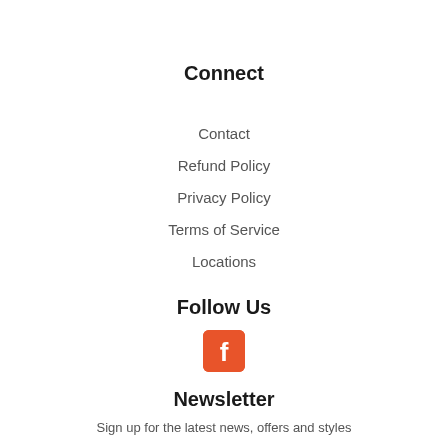Connect
Contact
Refund Policy
Privacy Policy
Terms of Service
Locations
Follow Us
[Figure (logo): Facebook icon - orange/red rounded square with white f letter]
Newsletter
Sign up for the latest news, offers and styles